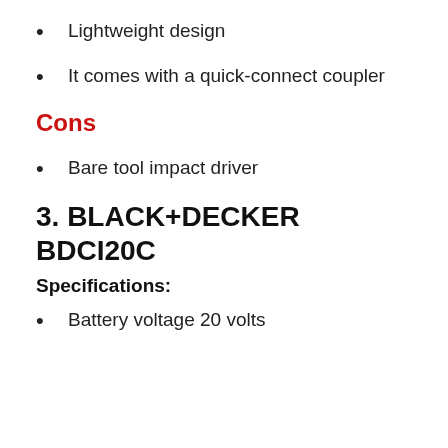Lightweight design
It comes with a quick-connect coupler
Cons
Bare tool impact driver
3. BLACK+DECKER BDCI20C
Specifications:
Battery voltage 20 volts